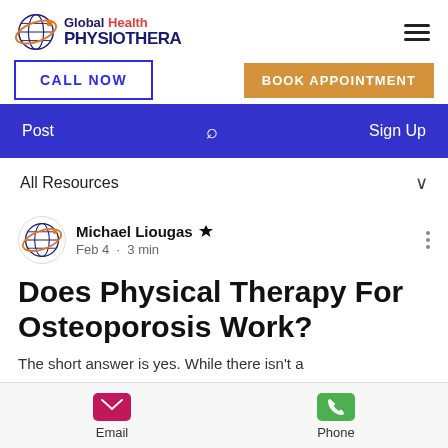[Figure (logo): Global Health Physiotherapy logo with globe icon and text]
[Figure (screenshot): Navigation buttons: CALL NOW and BOOK APPOINTMENT]
[Figure (screenshot): Blue navigation bar with Post, search icon, and Sign Up]
All Resources
[Figure (photo): Author avatar - Global Health Physiotherapy logo circle]
Michael Liougas 👑
Feb 4 · 3 min
Does Physical Therapy For Osteoporosis Work?
The short answer is yes. While there isn't a
[Figure (screenshot): Bottom contact bar with Email and Phone icons]